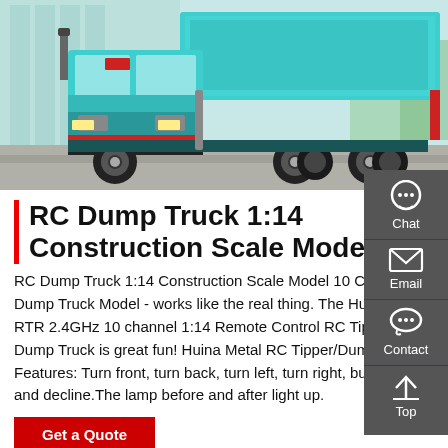[Figure (photo): A teal/turquoise Sinotruk HOWO heavy-duty dump truck parked in front of a modern building with glass facade. The truck is large, with a raised tipper body, multiple rear axles, and red accent stripes.]
RC Dump Truck 1:14 Construction Scale Model
RC Dump Truck 1:14 Construction Scale Model 10 Channel Dump Truck Model - works like the real thing. The Huina 1573 RTR 2.4GHz 10 channel 1:14 Remote Control RC Tipper Dump Truck is great fun! Huina Metal RC Tipper/Dump Truck Features: Turn front, turn back, turn left, turn right, bucket rise and decline.The lamp before and after light up.
Get a Quote